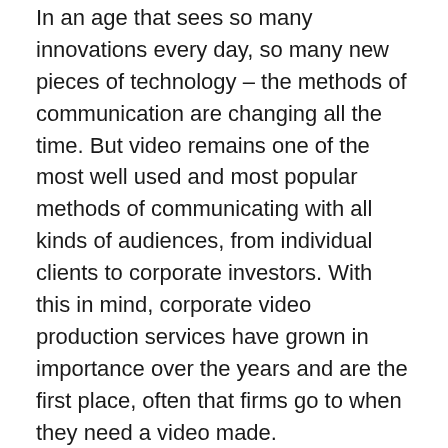In an age that sees so many innovations every day, so many new pieces of technology – the methods of communication are changing all the time. But video remains one of the most well used and most popular methods of communicating with all kinds of audiences, from individual clients to corporate investors. With this in mind, corporate video production services have grown in importance over the years and are the first place, often that firms go to when they need a video made.
While some Videos para Empresas are fairly simple affairs, others are more complicated. But even a straight forward actress against a white background can require a certain amount of planning in order for it to look professional. And the word 'professional' is